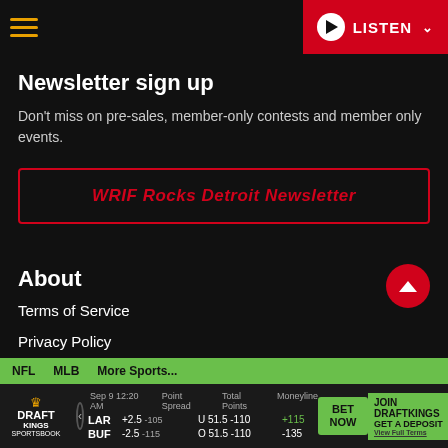101 WRIF — LISTEN
Newsletter sign up
Don't miss on pre-sales, member-only contests and member only events.
WRIF Rocks Detroit Newsletter
About
Terms of Service
Privacy Policy
NFL  MLB  More Sports...  |  DraftKings Sportsbook — Sep 9 12:20 AM  LAR +2.5 -105 / BUF -2.5 -115  U 51.5 -110 / O 51.5 -110  +115 / -135  BET NOW  JOIN DRAFTKINGS GET A DEPOSIT  View Full Terms